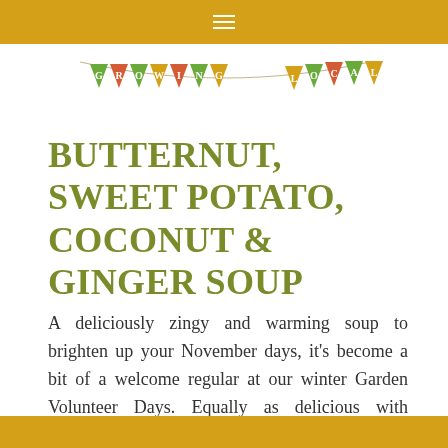☰
[Figure (illustration): Bunting banner with triangular flags in green, red/orange and yellow colors spelling out 'GROWING LOCAL']
BUTTERNUT, SWEET POTATO, COCONUT & GINGER SOUP
A deliciously zingy and warming soup to brighten up your November days, it's become a bit of a welcome regular at our winter Garden Volunteer Days. Equally as delicious with pumpkin, butternut squash or other autumn squash and sweet potatoes. Add a